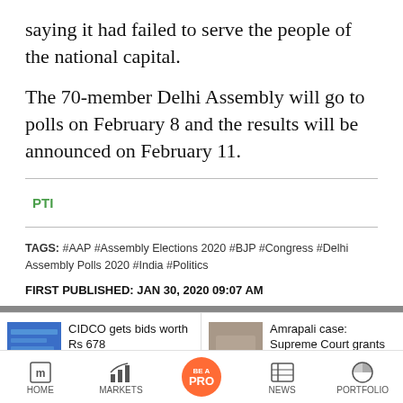saying it had failed to serve the people of the national capital.
The 70-member Delhi Assembly will go to polls on February 8 and the results will be announced on February 11.
PTI
TAGS: #AAP #Assembly Elections 2020 #BJP #Congress #Delhi Assembly Polls 2020 #India #Politics
FIRST PUBLISHED: JAN 30, 2020 09:07 AM
[Figure (screenshot): Related article card: CIDCO gets bids worth Rs 678 [truncated]]
[Figure (screenshot): Related article card: Amrapali case: Supreme Court grants [truncated]]
[Figure (other): Bottom navigation bar with HOME, MARKETS, BE A PRO button, NEWS, PORTFOLIO icons]